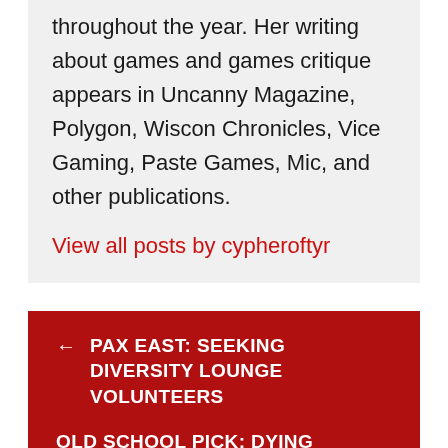throughout the year. Her writing about games and games critique appears in Uncanny Magazine, Polygon, Wiscon Chronicles, Vice Gaming, Paste Games, Mic, and other publications.
View all posts by cypheroftyr
← PAX EAST: SEEKING DIVERSITY LOUNGE VOLUNTEERS
OLD SCHOOL PICK: DYING LIGHT →